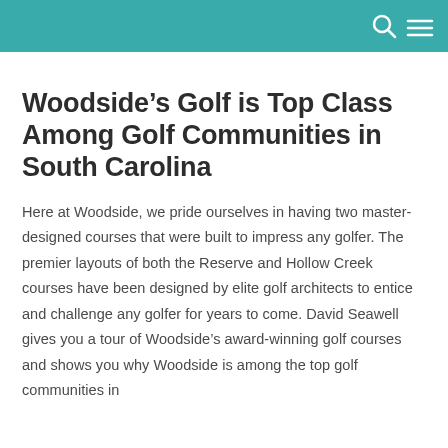Woodside’s Golf is Top Class Among Golf Communities in South Carolina
Here at Woodside, we pride ourselves in having two master-designed courses that were built to impress any golfer. The premier layouts of both the Reserve and Hollow Creek courses have been designed by elite golf architects to entice and challenge any golfer for years to come. David Seawell gives you a tour of Woodside’s award-winning golf courses and shows you why Woodside is among the top golf communities in